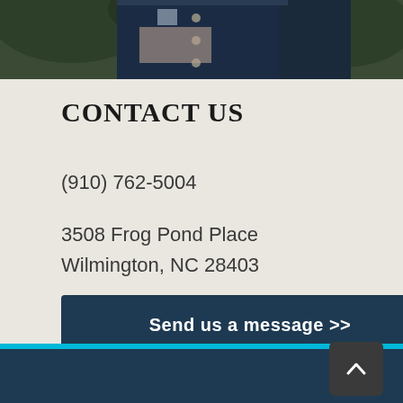[Figure (photo): Partial view of a police officer in dark uniform holding what appears to be a document or clipboard, photographed from shoulders up against a blurred outdoor background.]
CONTACT US
(910) 762-5004
3508 Frog Pond Place
Wilmington, NC 28403
Send us a message >>